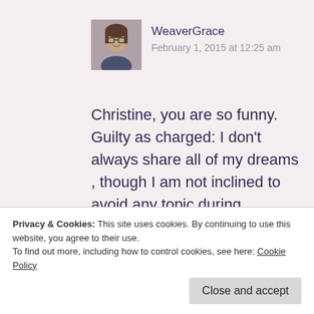[Figure (photo): Avatar photo of WeaverGrace, a woman with glasses]
WeaverGrace
February 1, 2015 at 12:25 am
Christine, you are so funny. Guilty as charged: I don't always share all of my dreams , though I am not inclined to avoid any topic during breakfast.

I'm glad that you're lurking. I did the same.
Privacy & Cookies: This site uses cookies. By continuing to use this website, you agree to their use.
To find out more, including how to control cookies, see here: Cookie Policy
Close and accept